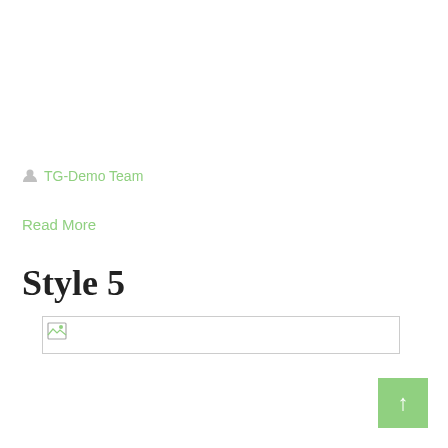TG-Demo Team
Read More
Style 5
[Figure (other): Broken image placeholder — wide horizontal image box with a broken image icon in the top-left corner]
↑